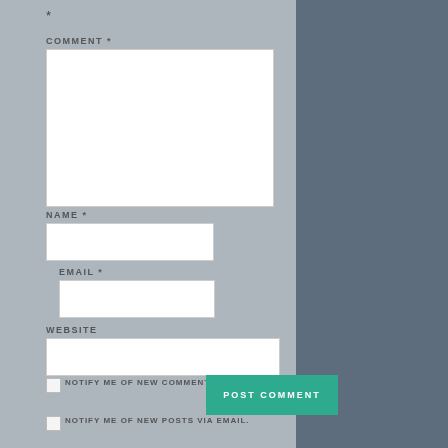*
COMMENT *
NAME *
EMAIL *
WEBSITE
NOTIFY ME OF NEW COMMENTS VIA EMAIL.
POST COMMENT
NOTIFY ME OF NEW POSTS VIA EMAIL.